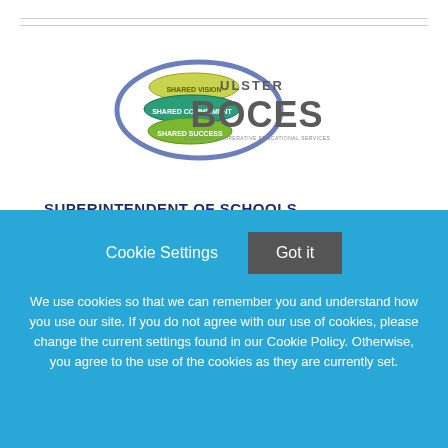[Figure (logo): Ulster BOCES - Board of Cooperative Educational Services logo with shared vision, shared commitment, shared success ovals]
SUPERINTENDENT OF SCHOOLS
New Paltz Central School District
New Paltz, New York
Cookie Settings
Got it
We use cookies so that we can remember you and understand how you use our site. If you do not agree with our use of cookies, please change the current settings found in our Cookie Policy. Otherwise, you agree to the use of the cookies as they are currently set.